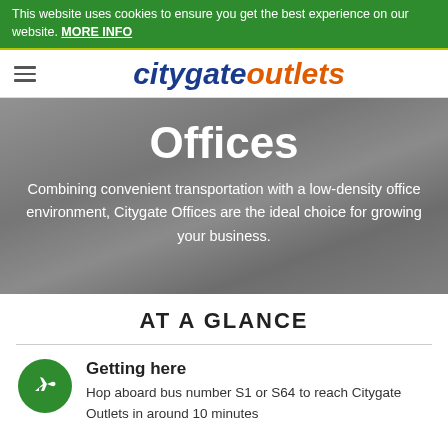This website uses cookies to ensure you get the best experience on our website. MORE INFO
[Figure (logo): Citygate Outlets logo with hamburger menu icon]
[Figure (photo): Blurred office environment background with white text overlay showing 'Offices' heading and descriptive text]
Offices
Combining convenient transportation with a low-density office environment, Citygate Offices are the ideal choice for growing your business.
AT A GLANCE
Getting here
Hop aboard bus number S1 or S64 to reach Citygate Outlets in around 10 minutes